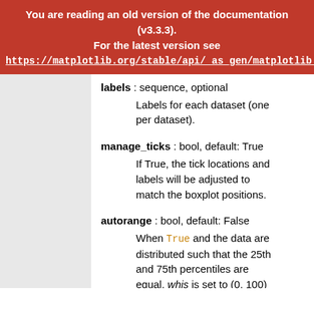You are reading an old version of the documentation (v3.3.3). For the latest version see https://matplotlib.org/stable/api/_as_gen/matplotlib.pyplot.boxplo
labels : sequence, optional
Labels for each dataset (one per dataset).
manage_ticks : bool, default: True
If True, the tick locations and labels will be adjusted to match the boxplot positions.
autorange : bool, default: False
When True and the data are distributed such that the 25th and 75th percentiles are equal, whis is set to (0, 100)